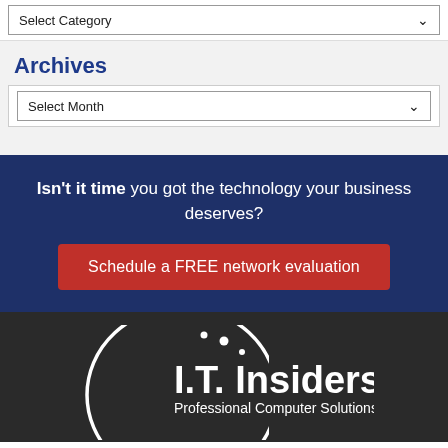Select Category
Archives
Select Month
Isn't it time you got the technology your business deserves?
Schedule a FREE network evaluation
[Figure (logo): I.T. Insiders Professional Computer Solutions logo with circular arc design on dark background]